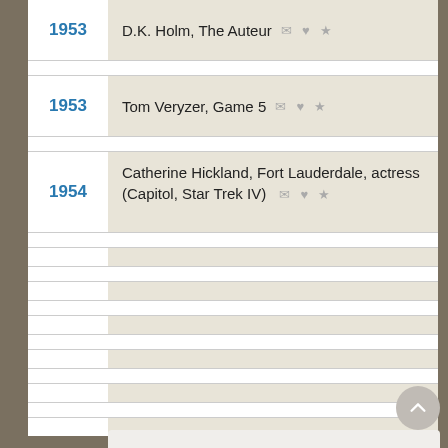1953 – D.K. Holm, The Auteur
1953 – Tom Veryzer, Game 5
1954 – Catherine Hickland, Fort Lauderdale, actress (Capitol, Star Trek IV)
We use cookies to understand how you use our site and to improve your experience. This includes personalizing content for you and for the display and tracking of advertising. By continuing to use our site, you accept and agree to our use of cookies. Privacy Policy
Got it!